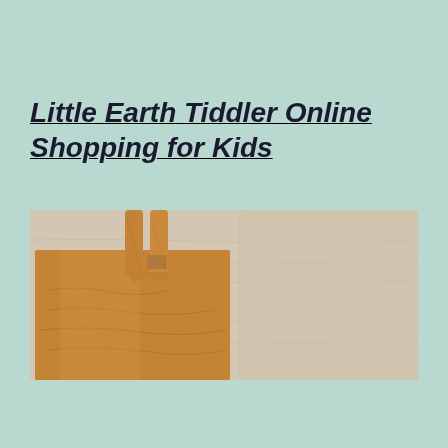Little Earth Tiddler Online Shopping for Kids
[Figure (photo): A brown kraft paper bag clipped with a wooden clothespin, set against a light wood grain background.]